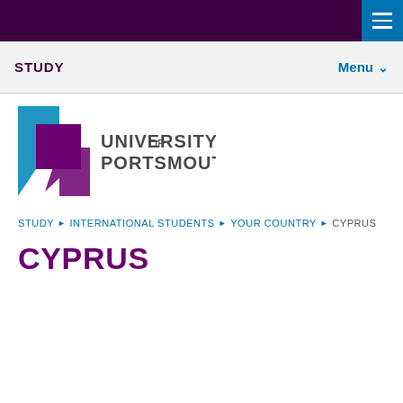STUDY | Menu
[Figure (logo): University of Portsmouth logo with blue and purple shield icon and text 'UNIVERSITY OF PORTSMOUTH']
STUDY ▶ INTERNATIONAL STUDENTS ▶ YOUR COUNTRY ▶ CYPRUS
CYPRUS